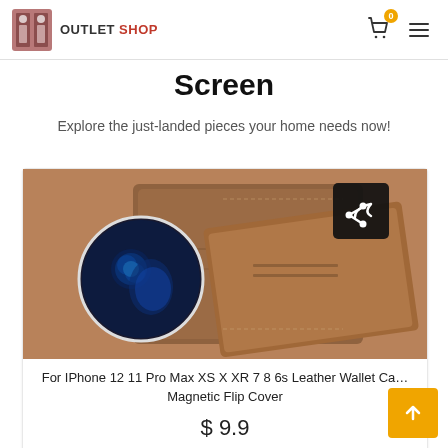OUTLET SHOP
Screen
Explore the just-landed pieces your home needs now!
[Figure (photo): Brown leather wallet flip case for iPhone with a circular inset showing the phone screen, and a share icon button overlay in the top right corner]
For IPhone 12 11 Pro Max XS X XR 7 8 6s Leather Wallet Ca... Magnetic Flip Cover
$ 9.9